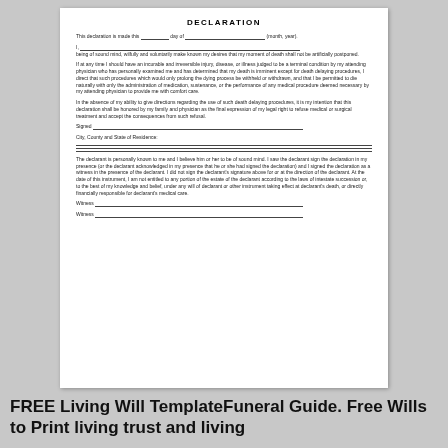DECLARATION
This declaration is made this _____ day of _____________________ (month, year).
I, ____________________________________________________________________________________
being of sound mind, wilfully and voluntarily make known my desires that my moment of death shall not be artificially postponed.
If at any time I should have an incurable and irreversible injury, disease, or illness judged to be a terminal condition by my attending physician who has personally examined me and has determined that my death is imminent except for death delaying procedures, I direct that such procedures which would only prolong the dying process be withheld or withdrawn, and that I be permitted to die naturally with only the administration of medication, sustenance, or the performance of any medical procedure deemed necessary by my attending physician to provide me with comfort care.
In the absence of my ability to give directions regarding the use of such death delaying procedures, it is my intention that this declaration shall be honored by my family and physician as the final expression of my legal right to refuse medical or surgical treatment and accept the consequences from such refusal.
Signed ___________________________________________________________________________________
City, County and State of Residence:
The declarant is personally known to me and I believe him or her to be of sound mind. I saw the declarant sign the declaration in my presence (or the declarant acknowledged in my presence that he or she had signed the declaration) and I signed the declaration as a witness in the presence of the declarant. I did not sign the declarant's signature above for or at the direction of the declarant. At the date of this instrument, I am not entitled to any portion of the estate of the declarant according to the laws of intestate succession or, to the best of my knowledge and belief, under any will of declarant or other instrument taking effect at declarant's death, or directly financially responsible for declarant's medical care.
Witness ___________________________________________________________________________________
Witness ___________________________________________________________________________________
FREE Living Will TemplateFuneral Guide. Free Wills to Print living trust and living